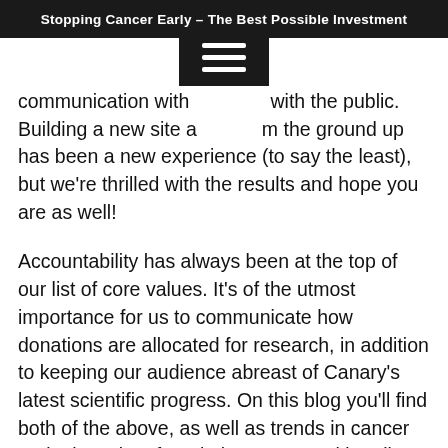Stopping Cancer Early – The Best Possible Investment
communication with with the public. Building a new site a m the ground up has been a new experience (to say the least), but we're thrilled with the results and hope you are as well!
Accountability has always been at the top of our list of core values. It's of the utmost importance for us to communicate how donations are allocated for research, in addition to keeping our audience abreast of Canary's latest scientific progress. On this blog you'll find both of the above, as well as trends in cancer early detection, foundation news, multimedia content, event updates, and more.
Our goal is to facilitate candid conversations around what's going on here at Canary- how we're blazing trails in cancer early detection, how our research impacts communities and individuals, and how you can help.  We've got a lot of work ahead of us, but